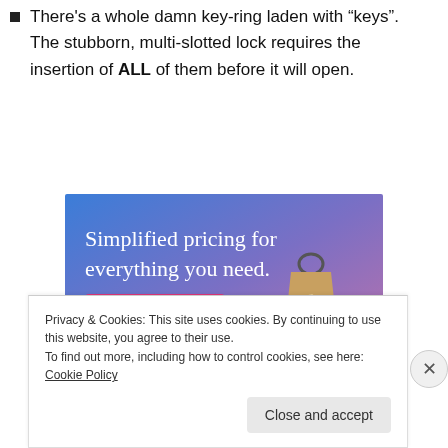There's a whole damn key-ring laden with “keys”. The stubborn, multi-slotted lock requires the insertion of ALL of them before it will open.
[Figure (illustration): Advertisement banner with blue-to-purple gradient background showing a price tag graphic and text 'Simplified pricing for everything you need.' with a pink 'Build Your Website' button.]
Privacy & Cookies: This site uses cookies. By continuing to use this website, you agree to their use.
To find out more, including how to control cookies, see here: Cookie Policy